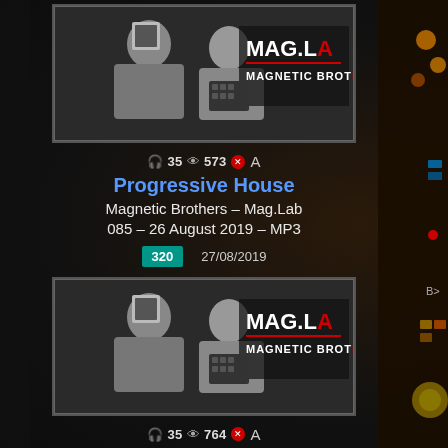[Figure (photo): Black and white photo of two young men (Magnetic Brothers) posing with DJ equipment. Text overlay reads MAG.LA and MAGNETIC BROTH]
🎧 35 👁 573 ✖ A
Progressive House
Magnetic Brothers – Mag.Lab 085 – 26 August 2019 – MP3
320   27/08/2019
[Figure (photo): Black and white photo of two young men (Magnetic Brothers) posing with DJ equipment. Text overlay reads MAG.LA and MAGNETIC BROTH]
🎧 35 👁 764 ✖ A
Progressive House
Magnetic Brothers – Mag.Lab 083 – 24 June 2019 – MP3